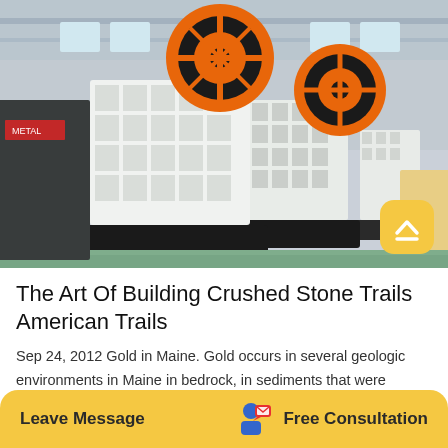[Figure (photo): Industrial jaw crushers in a factory/warehouse setting. Large white crushing machines with orange and black flywheels on black steel frames, lined up on a green concrete floor inside a large industrial building.]
The Art Of Building Crushed Stone Trails American Trails
Sep 24, 2012 Gold in Maine. Gold occurs in several geologic environments in Maine in bedrock, in sediments that were eroded from bedrock by glaciers, and in stream deposits derived from either
Leave Message
Free Consultation